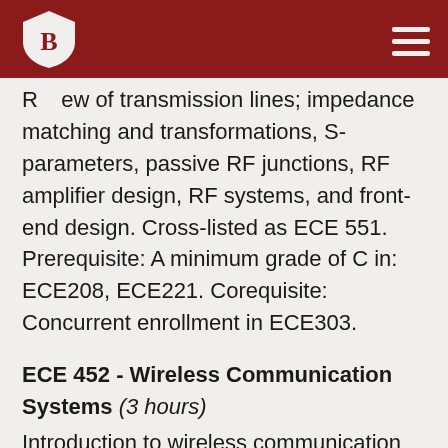Bradley University logo and navigation
Review of transmission lines; impedance matching and transformations, S-parameters, passive RF junctions, RF amplifier design, RF systems, and front-end design. Cross-listed as ECE 551. Prerequisite: A minimum grade of C in: ECE208, ECE221. Corequisite: Concurrent enrollment in ECE303.
ECE 452 - Wireless Communication Systems (3 hours)
Introduction to wireless communication systems; modulation and detection; noise, attenuation; multipath and fading; sensitivity, distortion, inter-